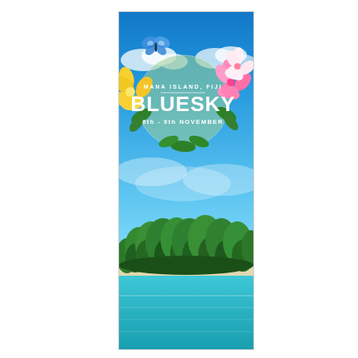[Figure (illustration): Tall vertical banner/poster for 'BLUESKY' event at Mana Island, Fiji, 6th-9th November. Features a tropical beach scene with bright blue sky, white clouds, lush green palm trees, white sandy beach, and turquoise ocean. A circular green badge in the upper portion contains the event name 'BLUESKY' in large white bold text, with 'MANA ISLAND, FIJI' above and '6th - 9th NOVEMBER' below. Decorative tropical flowers (yellow plumeria on left, pink hibiscus on right) and a blue butterfly adorn the badge.]